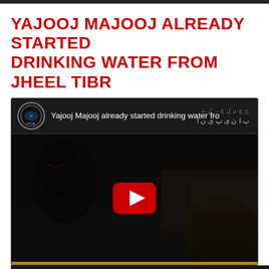YAJOOJ MAJOOJ ALREADY STARTED DRINKING WATER FROM JHEEL TIBR
[Figure (screenshot): YouTube video embed showing a video titled 'Yajooj Majooj already started drinking water fro' with a dark thumbnail featuring a shadowy figure and a YouTube play button in the center. The video header shows a circular channel icon and the video title text on a dark background with Urdu text overlay.]